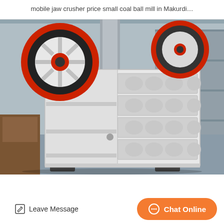mobile jaw crusher price small coal ball mill in Makurdi…
[Figure (photo): Industrial jaw crusher machine, white/light grey colored, with large red and black flywheel wheels on top left, rectangular grid-pattern body, sitting on a factory floor with industrial warehouse background.]
Leave Message
Chat Online